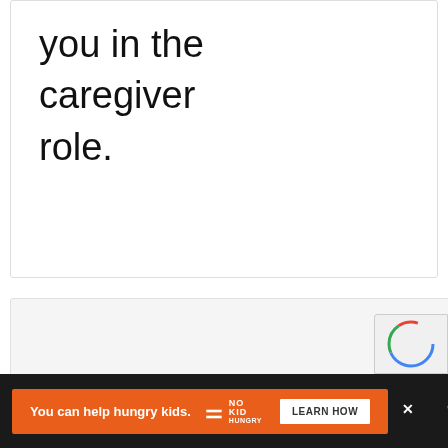you in the caregiver role.
[Figure (other): Empty loading card with three dots indicator in center, light gray background]
[Figure (other): reCAPTCHA badge partial view at bottom right]
You can help hungry kids. NO KID HUNGRY LEARN HOW